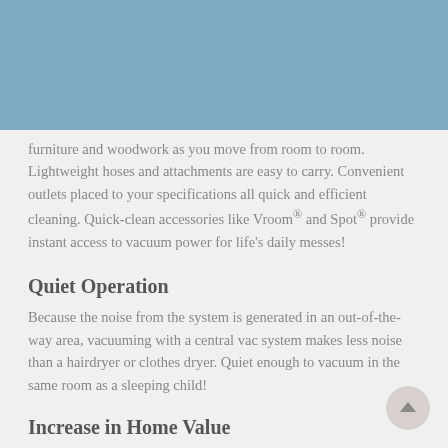[Figure (logo): Vacu-matic Sales Co. logo in header bar]
furniture and woodwork as you move from room to room. Lightweight hoses and attachments are easy to carry. Convenient outlets placed to your specifications all quick and efficient cleaning. Quick-clean accessories like Vroom® and Spot® provide instant access to vacuum power for life's daily messes!
Quiet Operation
Because the noise from the system is generated in an out-of-the-way area, vacuuming with a central vac system makes less noise than a hairdryer or clothes dryer. Quiet enough to vacuum in the same room as a sleeping child!
Increase in Home Value